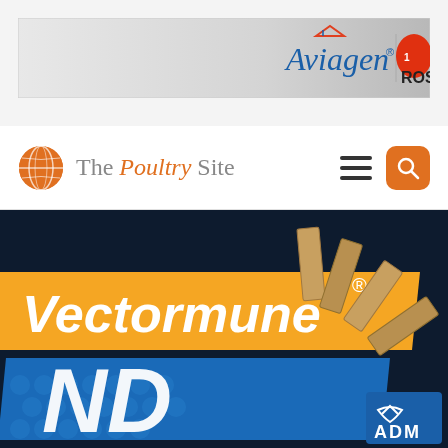[Figure (logo): Aviagen and ROSS brand advertisement banner with gradient grey background]
[Figure (logo): The Poultry Site navigation bar with orange globe logo, site name, hamburger menu, and orange search button]
[Figure (infographic): Vectormune ND product promotional banner on dark navy background with orange and blue diagonal labels, wooden dominoes falling on right, and ADM logo badge in bottom right corner]